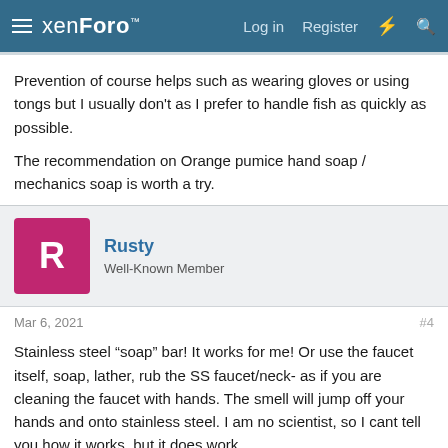xenForo™ | Log in | Register
Prevention of course helps such as wearing gloves or using tongs but I usually don't as I prefer to handle fish as quickly as possible.

The recommendation on Orange pumice hand soap / mechanics soap is worth a try.
Rusty
Well-Known Member
Mar 6, 2021
#4
Stainless steel “soap” bar! It works for me! Or use the faucet itself, soap, lather, rub the SS faucet/neck- as if you are cleaning the faucet with hands. The smell will jump off your hands and onto stainless steel. I am no scientist, so I cant tell you how it works, but it does work.